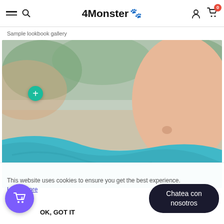4Monster — Sample lookbook gallery
[Figure (photo): Shirtless male torso at beach with teal/blue fabric, outdoor setting with blurred background. Teal circular plus button overlay on image.]
This website uses cookies to ensure you get the best experience.
Learn more
OK, GOT IT
Chatea con nosotros